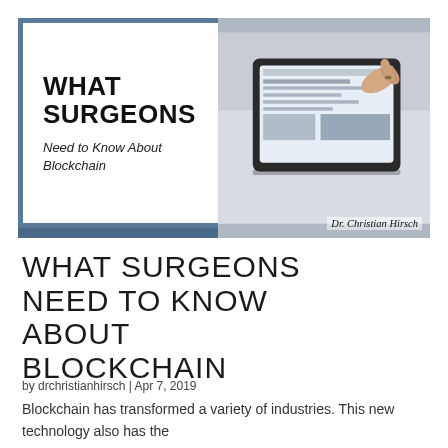[Figure (photo): Cover card composite: left panel with blue border showing bold title 'WHAT SURGEONS' and italic subtitle 'Need to Know About Blockchain', right panel showing a person's hand touching a tablet/iPad screen, with author credit 'Dr. Christian Hirsch' in lower right]
WHAT SURGEONS NEED TO KNOW ABOUT BLOCKCHAIN
by drchristianhirsch | Apr 7, 2019
Blockchain has transformed a variety of industries. This new technology also has the